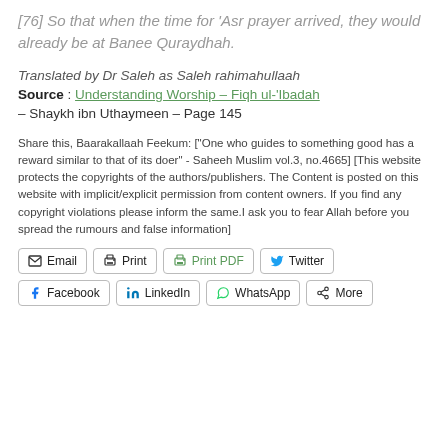[76] So that when the time for 'Asr prayer arrived, they would already be at Banee Quraydhah.
Translated by Dr Saleh as Saleh rahimahullaah
Source : Understanding Worship – Fiqh ul-'Ibadah – Shaykh ibn Uthaymeen – Page 145
Share this, Baarakallaah Feekum: ["One who guides to something good has a reward similar to that of its doer" - Saheeh Muslim vol.3, no.4665] [This website protects the copyrights of the authors/publishers. The Content is posted on this website with implicit/explicit permission from content owners. If you find any copyright violations please inform the same.I ask you to fear Allah before you spread the rumours and false information]
[Figure (other): Share buttons row 1: Email, Print, Print PDF, Twitter]
[Figure (other): Share buttons row 2: Facebook, LinkedIn, WhatsApp, More]